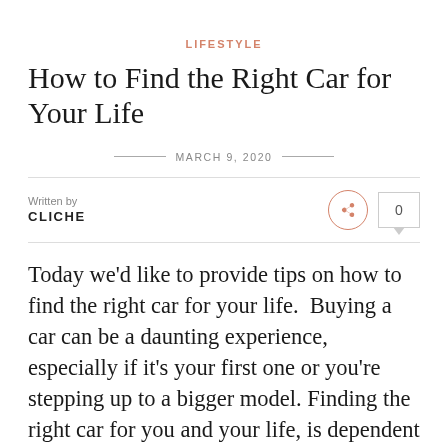LIFESTYLE
How to Find the Right Car for Your Life
MARCH 9, 2020
Written by
CLICHE
Today we'd like to provide tips on how to find the right car for your life.  Buying a car can be a daunting experience, especially if it's your first one or you're stepping up to a bigger model. Finding the right car for you and your life, is dependent on so many factors. From how far